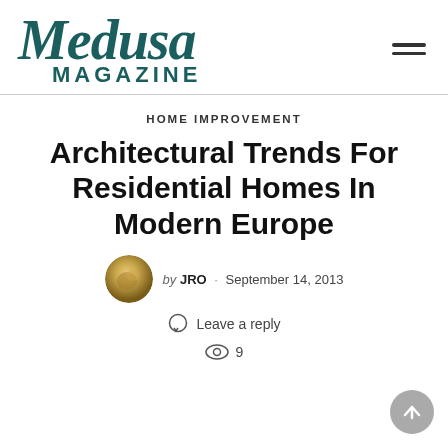Medusa MAGAZINE
HOME IMPROVEMENT
Architectural Trends For Residential Homes In Modern Europe
by JRO · September 14, 2013
Leave a reply
9